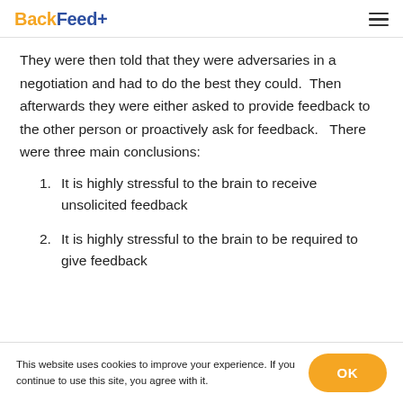BackFeed+
They were then told that they were adversaries in a negotiation and had to do the best they could.  Then afterwards they were either asked to provide feedback to the other person or proactively ask for feedback.   There were three main conclusions:
It is highly stressful to the brain to receive unsolicited feedback
It is highly stressful to the brain to be required to give feedback
This website uses cookies to improve your experience. If you continue to use this site, you agree with it.